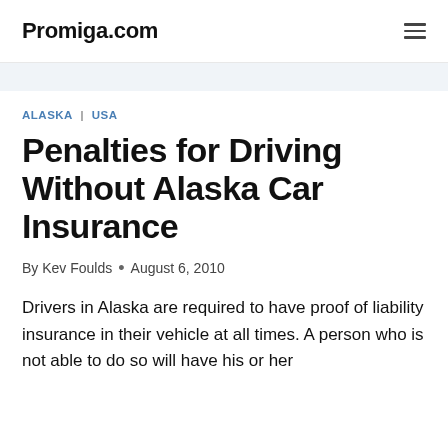Promiga.com
ALASKA | USA
Penalties for Driving Without Alaska Car Insurance
By Kev Foulds • August 6, 2010
Drivers in Alaska are required to have proof of liability insurance in their vehicle at all times. A person who is not able to do so will have his or her